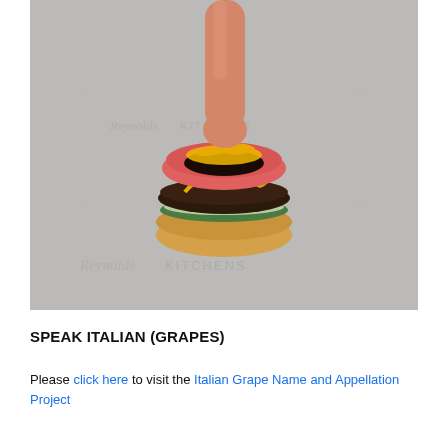[Figure (photo): A hand pressing down on a small burger-shaped cake or dessert decorated with pink fondant bun top, yellow and dark brown frosting layers, and green frosting, sitting on a Reynolds Kitchens parchment paper background.]
SPEAK ITALIAN (GRAPES)
Please click here to visit the Italian Grape Name and Appellation Project